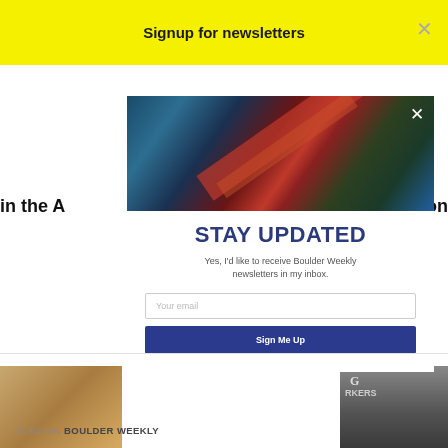Signup for newsletters
[Figure (screenshot): Newsletter signup modal popup over Boulder Weekly website. Modal shows a red rock landscape photo at top with X close button, 'STAY UPDATED' heading in dark blue, subtext 'Yes, I'd like to receive Boulder Weekly newsletters in my inbox.', email input field, and blue 'Sign Me Up' button. Background shows yellow header bar with 'Signup for newsletters' text, partially visible article text, and thumbnail images.]
STAY UPDATED
Yes, I'd like to receive Boulder Weekly newsletters in my inbox.
Your email
Sign Me Up
in the A
craction
Letters 9/1
or the
ALSO ON BOULDER WEEKLY